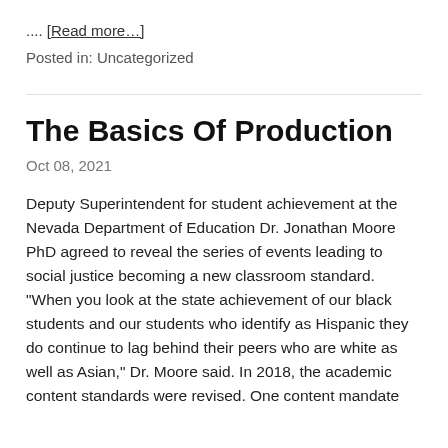.... [Read more…]
Posted in: Uncategorized
The Basics Of Production
Oct 08, 2021
Deputy Superintendent for student achievement at the Nevada Department of Education Dr. Jonathan Moore PhD agreed to reveal the series of events leading to social justice becoming a new classroom standard. "When you look at the state achievement of our black students and our students who identify as Hispanic they do continue to lag behind their peers who are white as well as Asian," Dr. Moore said. In 2018, the academic content standards were revised. One content mandate